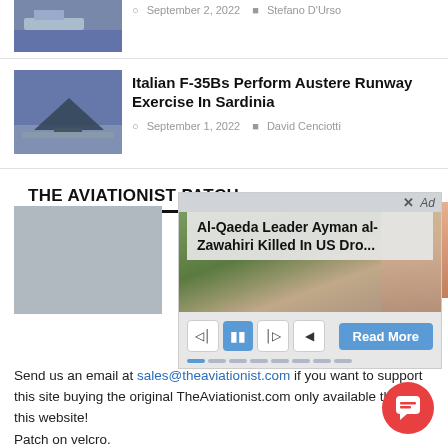[Figure (photo): Thumbnail image of aircraft/military scene]
September 2, 2022   Stefano D'Urso
[Figure (photo): Thumbnail of Italian F-35B aircraft on runway]
Italian F-35Bs Perform Austere Runway Exercise In Sardinia
September 1, 2022   David Cenciotti
THE AVIATIONIST PATCH
[Figure (screenshot): Ad overlay with headline: Al-Qaeda Leader Ayman al-Zawahiri Killed In US Dro... with media controls and Read More button]
Send us an email at sales@theaviationist.com if you want to support this site buying the original TheAviationist.com only available through this website!
Patch on velcro.